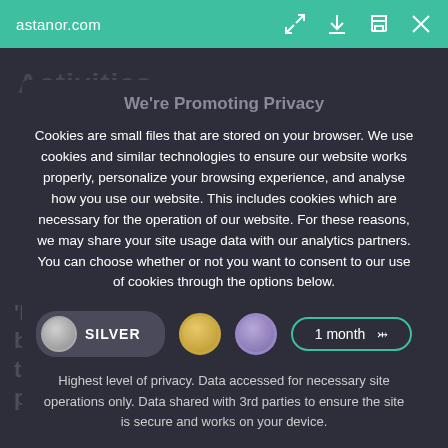astanor.com
We're Promoting Privacy
Cookies are small files that are stored on your browser. We use cookies and similar technologies to ensure our website works properly, personalize your browsing experience, and analyse how you use our website. This includes cookies which are necessary for the operation of our website. For these reasons, we may share your site usage data with our analytics partners. You can choose whether or not you want to consent to our use of cookies through the options below.
[Figure (screenshot): Cookie preference toggle row with SILVER selected toggle pill, gold circle, purple circle, and a 1 month dropdown selector]
Highest level of privacy. Data accessed for necessary site operations only. Data shared with 3rd parties to ensure the site is secure and works on your device.
Save my preferences